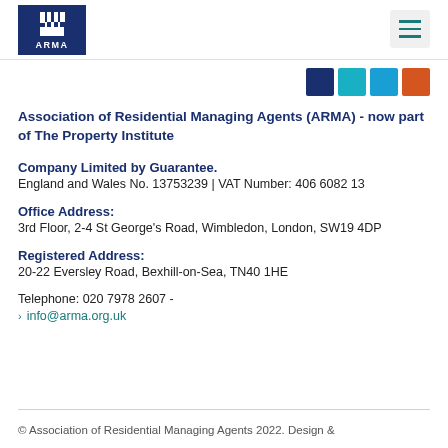ARMA logo and navigation header
[Figure (logo): ARMA logo - white castle/rook icon on dark navy blue background with 'ARMA' text in white below]
[Figure (other): Hamburger menu button with three teal horizontal lines on light grey background]
[Figure (other): Four social media icon squares: dark navy, teal, light blue (Twitter/X), and orange-red]
Association of Residential Managing Agents (ARMA) - now part of The Property Institute
Company Limited by Guarantee.
England and Wales No. 13753239 | VAT Number: 406 6082 13
Office Address:
3rd Floor, 2-4 St George's Road, Wimbledon, London, SW19 4DP
Registered Address:
20-22 Eversley Road, Bexhill-on-Sea, TN40 1HE
Telephone: 020 7978 2607 -
› info@arma.org.uk
© Association of Residential Managing Agents 2022. Design &